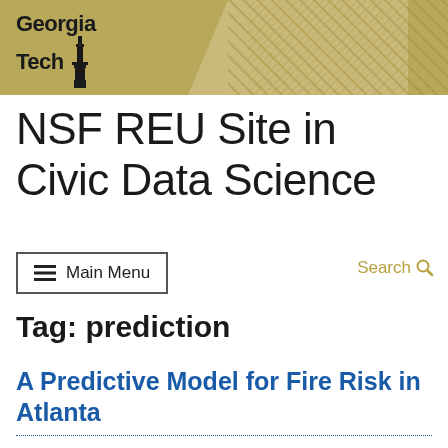[Figure (logo): Georgia Tech logo with tower icon on gold/tan banner header with diagonal stripe pattern]
NSF REU Site in Civic Data Science
Main Menu
Search
Tag: prediction
A Predictive Model for Fire Risk in Atlanta